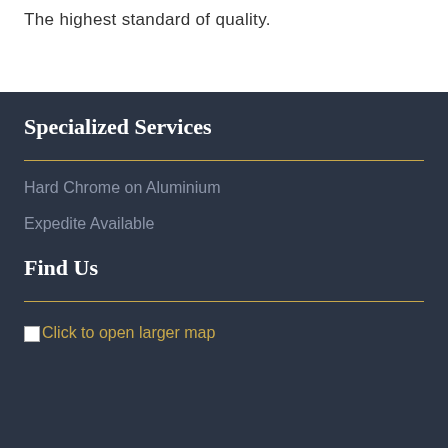The highest standard of quality.
Specialized Services
Hard Chrome on Aluminium
Expedite Available
Find Us
Click to open larger map